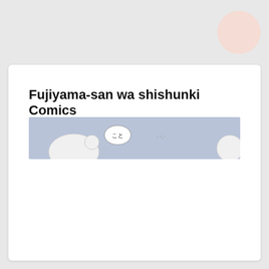Fujiyama-san wa shishunki Comics
[Figure (illustration): Partial manga/comic strip panel with light blue-gray background, showing cartoon character heads with speech bubble containing Japanese text 'こと' (koto) and another speech bubble, cropped at bottom of visible area.]